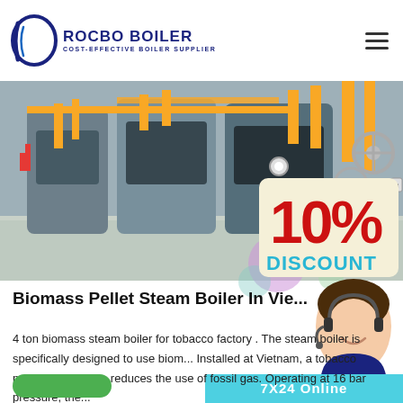ROCBO BOILER — COST-EFFECTIVE BOILER SUPPLIER
[Figure (photo): Industrial boiler room with large gas-fired steam boilers, yellow piping, and reflective concrete floor. Rocbo Boiler product showcase photo.]
[Figure (infographic): 10% DISCOUNT promotional overlay badge with customer service agent photo and 7X24 Online text, plus decorative colored circles.]
Biomass Pellet Steam Boiler In Vie...
4 ton biomass steam boiler for tobacco factory . The steam boiler is specifically designed to use biom... Installed at Vietnam, a tobacco processing facility, reduces the use of fossil gas. Operating at 16 bar pressure, the...